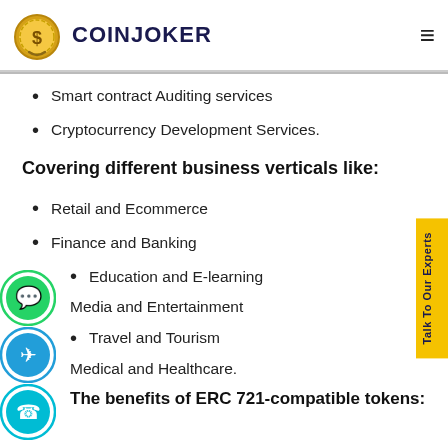COINJOKER
Smart contract Auditing services
Cryptocurrency Development Services.
Covering different business verticals like:
Retail and Ecommerce
Finance and Banking
Education and E-learning
Media and Entertainment
Travel and Tourism
Medical and Healthcare.
The benefits of ERC 721-compatible tokens: